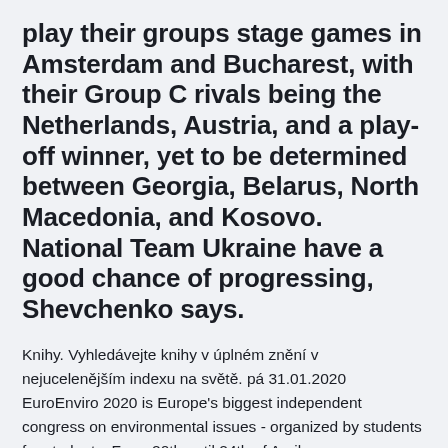play their groups stage games in Amsterdam and Bucharest, with their Group C rivals being the Netherlands, Austria, and a play-off winner, yet to be determined between Georgia, Belarus, North Macedonia, and Kosovo. National Team Ukraine have a good chance of progressing, Shevchenko says.
Knihy. Vyhledávejte knihy v úplném znění v nejucelenějším indexu na světě. pá 31.01.2020 EuroEnviro 2020 is Europe's biggest independent congress on environmental issues - organized by students for students. From 20th until 24th of April